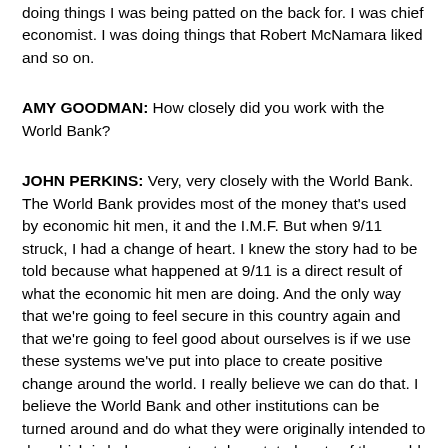doing things I was being patted on the back for. I was chief economist. I was doing things that Robert McNamara liked and so on.
AMY GOODMAN: How closely did you work with the World Bank?
JOHN PERKINS: Very, very closely with the World Bank. The World Bank provides most of the money that's used by economic hit men, it and the I.M.F. But when 9/11 struck, I had a change of heart. I knew the story had to be told because what happened at 9/11 is a direct result of what the economic hit men are doing. And the only way that we're going to feel secure in this country again and that we're going to feel good about ourselves is if we use these systems we've put into place to create positive change around the world. I really believe we can do that. I believe the World Bank and other institutions can be turned around and do what they were originally intended to do, which is help reconstruct devastated parts of the world. Help — genuinely help poor people. There are twenty four thousand